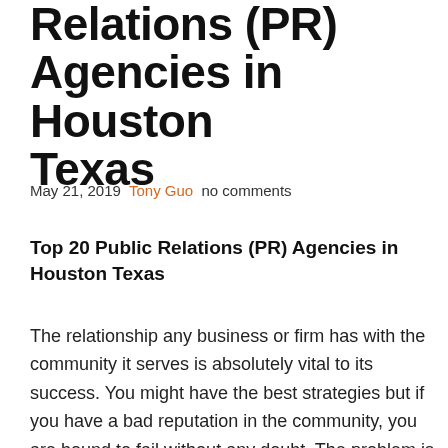Relations (PR) Agencies in Houston Texas
May 21, 2019  Tony Guo  no comments
Top 20 Public Relations (PR) Agencies in Houston Texas
The relationship any business or firm has with the community it serves is absolutely vital to its success. You might have the best strategies but if you have a bad reputation in the community, you are bound to fail without any doubt. The problem is that there are usually lots of things one has to deal with and